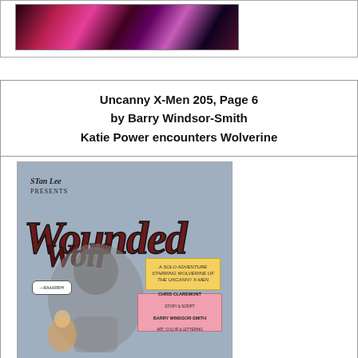[Figure (illustration): Top portion of a comic book page or splash image with pink/magenta and dark tones, partially cut off]
Uncanny X-Men 205, Page 6
by Barry Windsor-Smith
Katie Power encounters Wolverine
[Figure (illustration): Comic book page titled 'Wounded Wolf' by Barry Windsor-Smith, presented by Stan Lee. Shows Wolverine in a snowy scene carrying a small figure, with the title logo in large stylized lettering. Credits show Chris Claremont and Barry Windsor-Smith.]